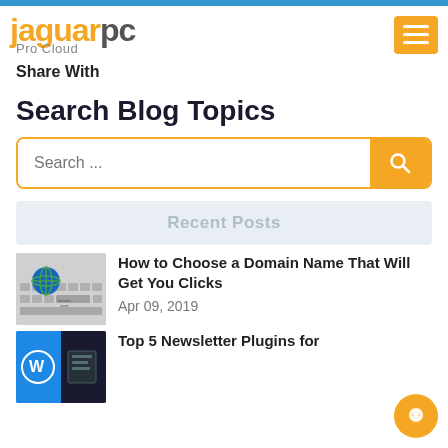jaguarpc Pro Cloud
Share With
Search Blog Topics
Search ...
Recent Posts
[Figure (photo): Keyboard with a colorful globe on domain name key]
How to Choose a Domain Name That Will Get You Clicks
Apr 09, 2019
[Figure (photo): WordPress logo with dark background]
Top 5 Newsletter Plugins for